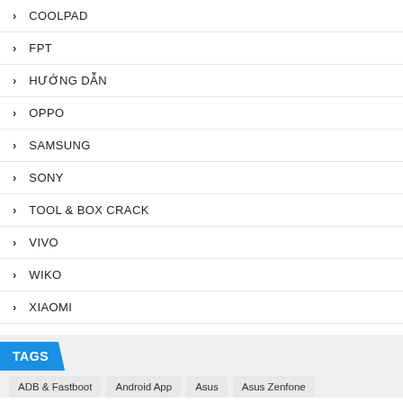COOLPAD
FPT
HƯỚNG DẪN
OPPO
SAMSUNG
SONY
TOOL & BOX CRACK
VIVO
WIKO
XIAOMI
ZIP MOBILE
TAGS
ADB & Fastboot
Android App
Asus
Asus Zenfone